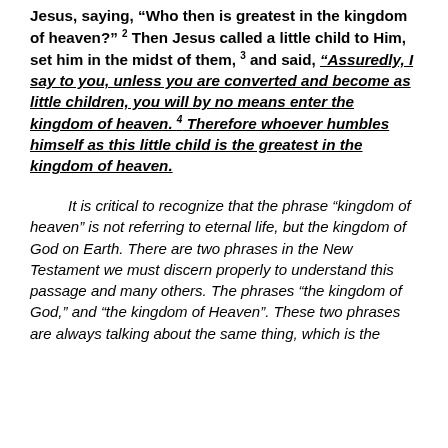Jesus, saying, “Who then is greatest in the kingdom of heaven?” 2 Then Jesus called a little child to Him, set him in the midst of them, 3 and said, “Assuredly, I say to you, unless you are converted and become as little children, you will by no means enter the kingdom of heaven. 4 Therefore whoever humbles himself as this little child is the greatest in the kingdom of heaven.
It is critical to recognize that the phrase “kingdom of heaven” is not referring to eternal life, but the kingdom of God on Earth. There are two phrases in the New Testament we must discern properly to understand this passage and many others. The phrases “the kingdom of God,” and “the kingdom of Heaven”. These two phrases are always talking about the same thing, which is the